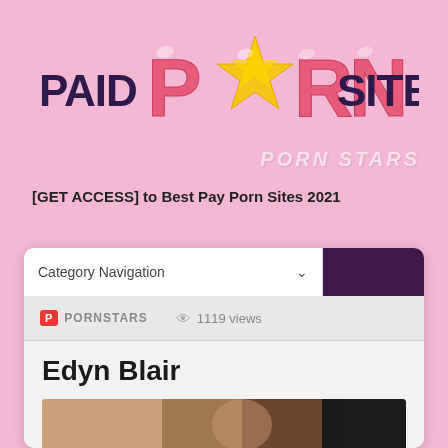[Figure (logo): Paid Porn Sites logo with large pink bubbly PORN letters and a gold star replacing the O]
PORN STARS
[GET ACCESS] to Best Pay Porn Sites 2021
Category Navigation
PORNSTARS   1119 views
Edyn Blair
[Figure (photo): Partial photo strip showing persons at bottom of page]